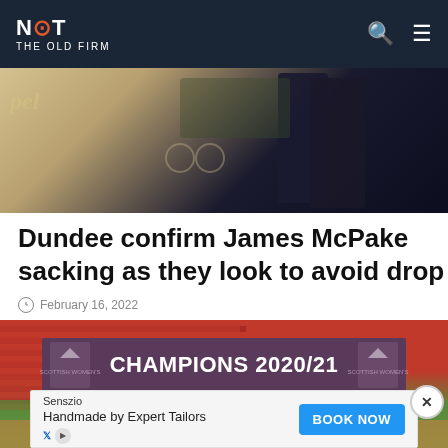NOT THE OLD FIRM
[Figure (photo): Photo of a person in a dark suit standing near a bus or vehicle exterior, cropped partial view]
Dundee confirm James McPake sacking as they look to avoid drop
February 16, 2022
[Figure (photo): Stadium photo showing a banner that reads CHAMPIONS 2020/21 with Scottish Women's Premier League logos, red seats visible in background, crowd of women at bottom]
Senszio
Handmade by Expert Tailors
BOOK NOW